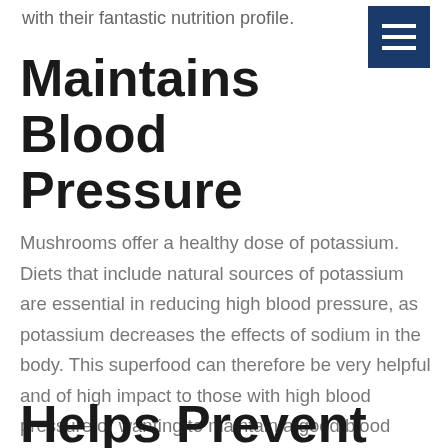with their fantastic nutrition profile.
[Figure (other): Blue hamburger menu icon with three white horizontal lines]
Maintains Blood Pressure
Mushrooms offer a healthy dose of potassium. Diets that include natural sources of potassium are essential in reducing high blood pressure, as potassium decreases the effects of sodium in the body. This superfood can therefore be very helpful and of high impact to those with high blood pressure or wanting to maintain a good blood pressure.
Helps Prevent Illnesses